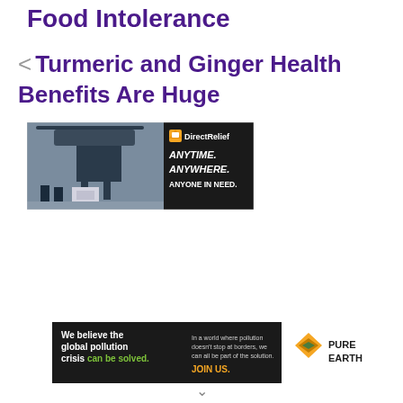Food Intolerance
< Turmeric and Ginger Health Benefits Are Huge
[Figure (photo): DirectRelief banner ad showing military personnel unloading supplies from a helicopter, with text: ANYTIME. ANYWHERE. ANYONE IN NEED.]
[Figure (photo): Pure Earth banner ad with text: We believe the global pollution crisis can be solved. In a world where pollution doesn't stop at borders, we can all be part of the solution. JOIN US. Logo: PURE EARTH with diamond icon.]